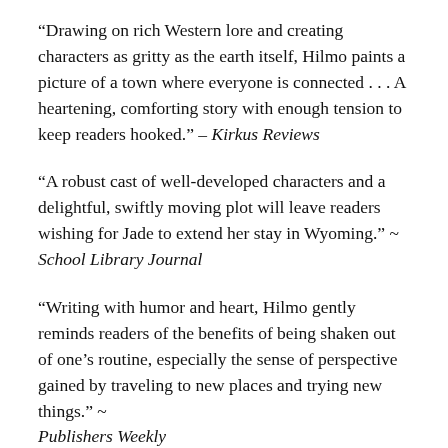“Drawing on rich Western lore and creating characters as gritty as the earth itself, Hilmo paints a picture of a town where everyone is connected . . . A heartening, comforting story with enough tension to keep readers hooked.” – Kirkus Reviews
“A robust cast of well-developed characters and a delightful, swiftly moving plot will leave readers wishing for Jade to extend her stay in Wyoming.” ~ School Library Journal
“Writing with humor and heart, Hilmo gently reminds readers of the benefits of being shaken out of one’s routine, especially the sense of perspective gained by traveling to new places and trying new things.” ~ Publishers Weekly
“A fantastic story for the 7-12 age range it is full of